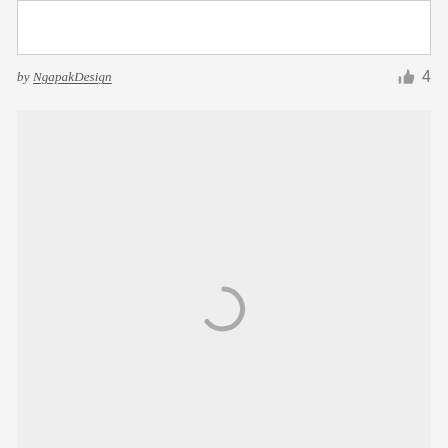[Figure (screenshot): White card/panel at top of page]
by NgapakDesign   👍 4
[Figure (screenshot): Light gray card/panel with a loading spinner (circular arc) centered in the lower portion of the page]